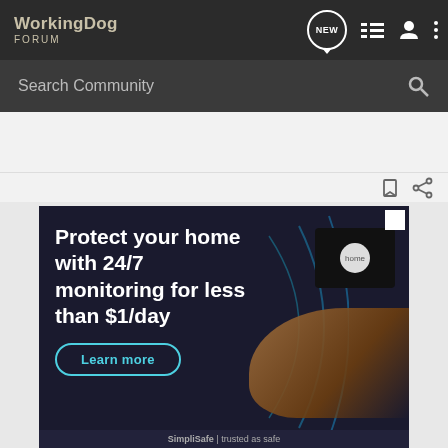WorkingDog FORUM
Search Community
[Figure (screenshot): Advertisement banner: Protect your home with 24/7 monitoring for less than $1/day. Learn more. SimpliSafe | trusted as safe.]